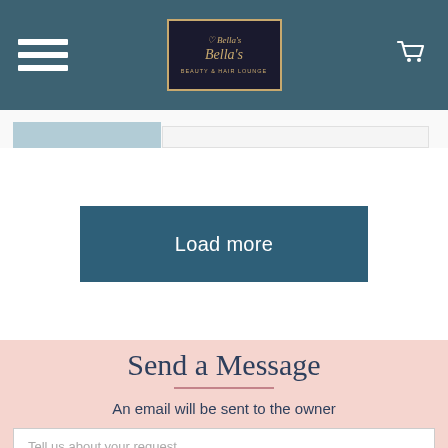Bella's Beauty & Hair Lounge - Navigation Bar
[Figure (logo): Bella's Beauty & Hair Lounge logo in a dark box with gold script text and heart icon]
Load more
Send a Message
An email will be sent to the owner
Tell us about your request